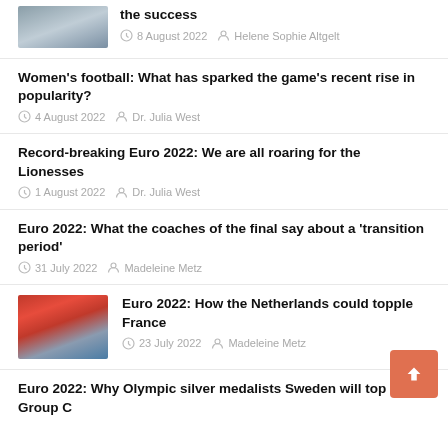[Figure (photo): Thumbnail image of players, top-left corner partial]
the success
8 August 2022  Helene Sophie Altgelt
Women's football: What has sparked the game's recent rise in popularity?
4 August 2022  Dr. Julia West
Record-breaking Euro 2022: We are all roaring for the Lionesses
1 August 2022  Dr. Julia West
Euro 2022: What the coaches of the final say about a 'transition period'
31 July 2022  Madeleine Metz
[Figure (photo): Thumbnail image of football players in red and blue uniforms]
Euro 2022: How the Netherlands could topple France
23 July 2022  Madeleine Metz
Euro 2022: Why Olympic silver medalists Sweden will top Group C